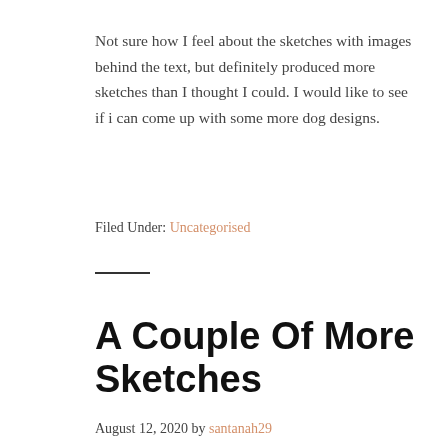Not sure how I feel about the sketches with images behind the text, but definitely produced more sketches than I thought I could. I would like to see if i can come up with some more dog designs.
Filed Under: Uncategorised
A Couple Of More Sketches
August 12, 2020 by santanah29
[Figure (photo): Partial thumbnail image visible at bottom of page, warm/skin tones]